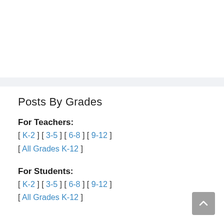Posts By Grades
For Teachers:
[ K-2 ] [ 3-5 ] [ 6-8 ] [ 9-12 ]
[ All Grades K-12 ]
For Students:
[ K-2 ] [ 3-5 ] [ 6-8 ] [ 9-12 ]
[ All Grades K-12 ]